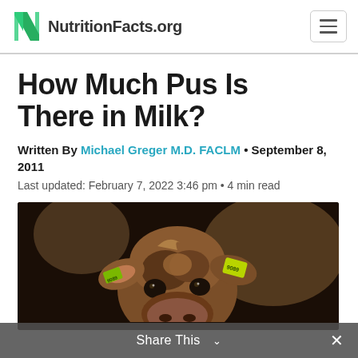NutritionFacts.org
How Much Pus Is There in Milk?
Written By Michael Greger M.D. FACLM • September 8, 2011
Last updated: February 7, 2022 3:46 pm • 4 min read
[Figure (photo): Close-up photo of a brown calf/cow face with yellow ear tags numbered 9089, looking at the camera in a dark barn setting]